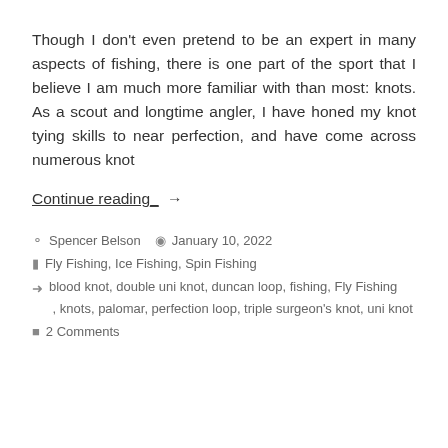Though I don't even pretend to be an expert in many aspects of fishing, there is one part of the sport that I believe I am much more familiar with than most: knots. As a scout and longtime angler, I have honed my knot tying skills to near perfection, and have come across numerous knot
Continue reading →
Spencer Belson   January 10, 2022
Fly Fishing, Ice Fishing, Spin Fishing
blood knot, double uni knot, duncan loop, fishing, Fly Fishing, knots, palomar, perfection loop, triple surgeon's knot, uni knot
2 Comments